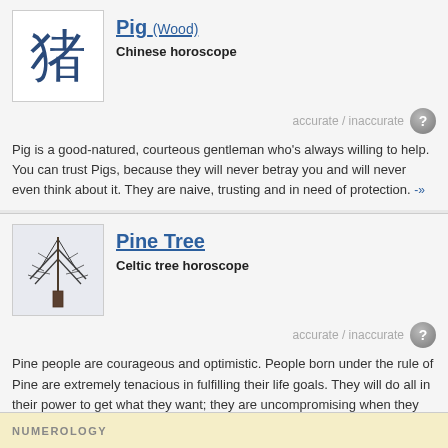Pig (Wood)
Chinese horoscope
accurate / inaccurate
Pig is a good-natured, courteous gentleman who's always willing to help. You can trust Pigs, because they will never betray you and will never even think about it. They are naive, trusting and in need of protection. -»
Pine Tree
Celtic tree horoscope
accurate / inaccurate
Pine people are courageous and optimistic. People born under the rule of Pine are extremely tenacious in fulfilling their life goals. They will do all in their power to get what they want; they are uncompromising when they get into an argument. They have good manners but they can be a bit cheeky. If they are sure that they are right, they do not acknowledge authority, and they can be very stubborn. -»
NUMEROLOGY